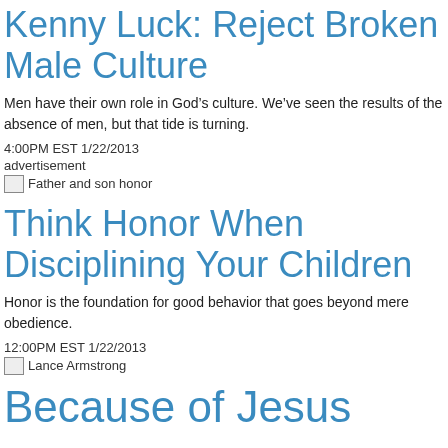Kenny Luck: Reject Broken Male Culture
Men have their own role in God’s culture. We’ve seen the results of the absence of men, but that tide is turning.
4:00PM EST 1/22/2013
advertisement
[Figure (photo): Father and son honor]
Think Honor When Disciplining Your Children
Honor is the foundation for good behavior that goes beyond mere obedience.
12:00PM EST 1/22/2013
[Figure (photo): Lance Armstrong]
Because of Jesus...